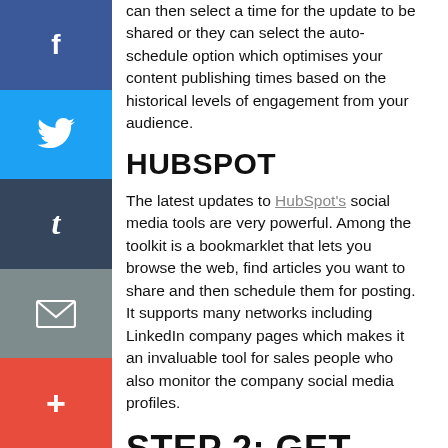can then select a time for the update to be shared or they can select the auto-schedule option which optimises your content publishing times based on the historical levels of engagement from your audience.
HUBSPOT
The latest updates to HubSpot's social media tools are very powerful. Among the toolkit is a bookmarklet that lets you browse the web, find articles you want to share and then schedule them for posting. It supports many networks including LinkedIn company pages which makes it an invaluable tool for sales people who also monitor the company social media profiles.
STEP 2: GET